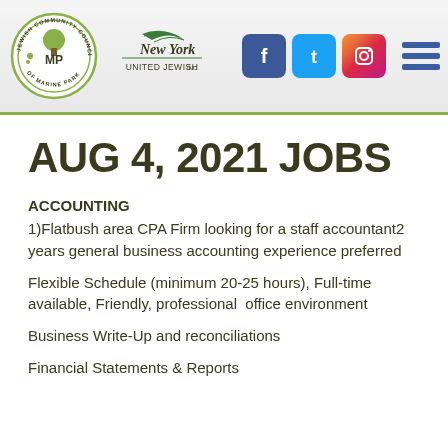[Figure (logo): Jewish Community Council of Marine Park logo (circular with tree and MP letters) alongside New York United Jewish Inc logo, Facebook, Twitter, Instagram social icons, and hamburger menu]
AUG 4, 2021 JOBS
ACCOUNTING
1)Flatbush area CPA Firm looking for a staff accountant2 years general business accounting experience preferred
Flexible Schedule (minimum 20-25 hours), Full-time available, Friendly, professional  office environment
Business Write-Up and reconciliations
Financial Statements & Reports